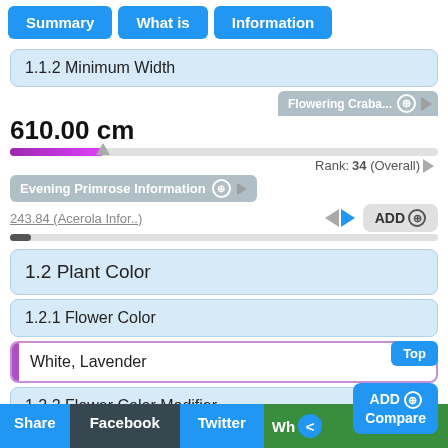Summary | What is | Information
1.1.2 Minimum Width
610.00 cm
Flowering Craba... ADD
Rank: 34 (Overall)
Evening Primrose Information ADD
243.84 (Acerola Infor..) ADD ⊕
1.2 Plant Color
1.2.1 Flower Color
White, Lavender
1.2.2 Flower Color Modifier
Not Available
Share | Facebook | Twitter | Wh